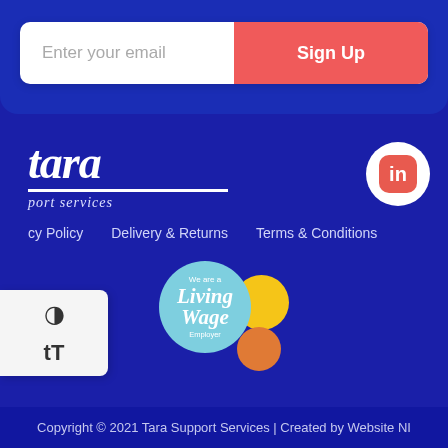Enter your email
Sign Up
[Figure (logo): Tara Support Services logo in white italic serif text with underline]
[Figure (logo): LinkedIn social media icon in a white circle with red rounded square background]
cy Policy
Delivery & Returns
Terms & Conditions
[Figure (logo): Living Wage Employer badge with overlapping circles in teal, yellow, and orange]
Copyright © 2021 Tara Support Services | Created by Website NI